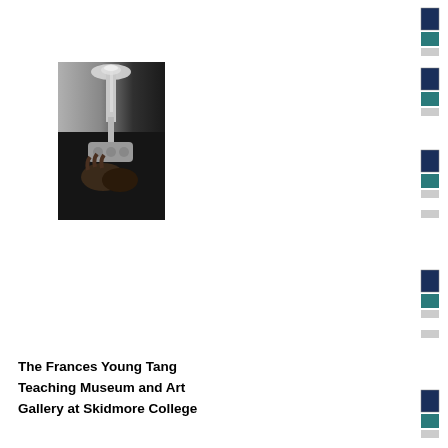[Figure (photo): Black and white close-up photograph of a person playing a trumpet, with the bell of the trumpet visible at the top and the musician's hands holding the instrument below.]
The Frances Young Tang Teaching Museum and Art Gallery at Skidmore College